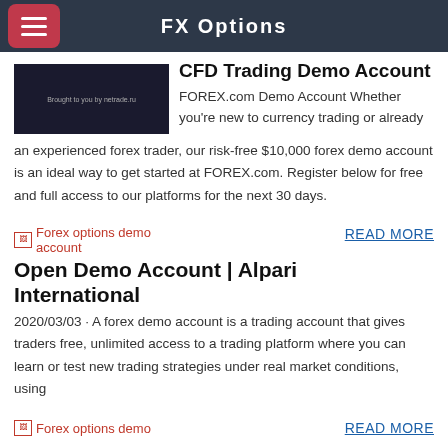FX Options
CFD Trading Demo Account
FOREX.com Demo Account Whether you're new to currency trading or already an experienced forex trader, our risk-free $10,000 forex demo account is an ideal way to get started at FOREX.com. Register below for free and full access to our platforms for the next 30 days.
[Figure (other): Broken image placeholder for Forex options demo account]
READ MORE
Open Demo Account | Alpari International
2020/03/03 · A forex demo account is a trading account that gives traders free, unlimited access to a trading platform where you can learn or test new trading strategies under real market conditions, using
[Figure (other): Broken image placeholder for Forex options demo account (second)]
READ MORE